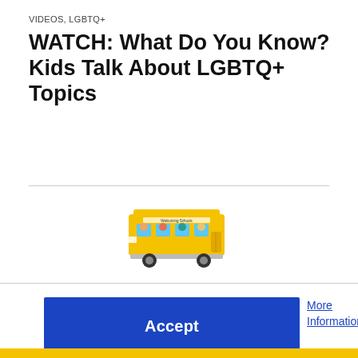VIDEOS, LGBTQ+
WATCH: What Do You Know? Kids Talk About LGBTQ+ Topics
[Figure (illustration): A colorful school bus illustration with 'Welcoming Schools' text on the side and diverse cartoon children visible through windows.]
Accept
More Information